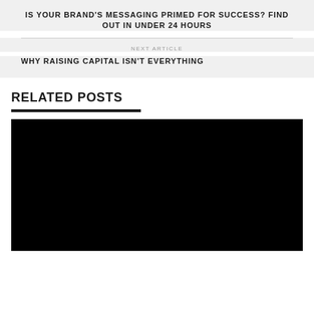IS YOUR BRAND'S MESSAGING PRIMED FOR SUCCESS? FIND OUT IN UNDER 24 HOURS
NEXT ARTICLE
WHY RAISING CAPITAL ISN'T EVERYTHING
RELATED POSTS
[Figure (photo): Black image placeholder for a related post thumbnail]